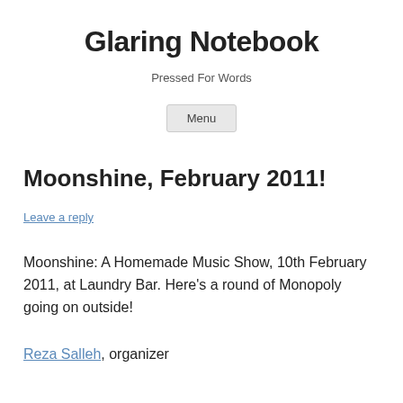Glaring Notebook
Pressed For Words
Menu
Moonshine, February 2011!
Leave a reply
Moonshine: A Homemade Music Show, 10th February 2011, at Laundry Bar. Here’s a round of Monopoly going on outside!
Reza Salleh, organizer